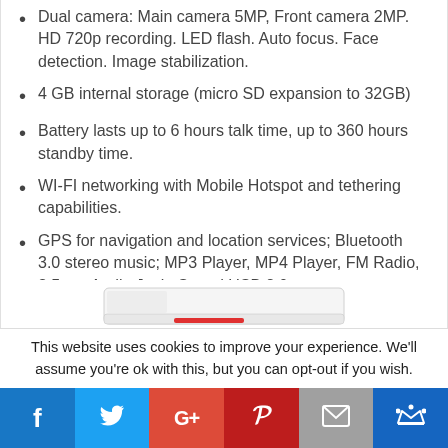Dual camera: Main camera 5MP, Front camera 2MP. HD 720p recording. LED flash. Auto focus. Face detection. Image stabilization.
4 GB internal storage (micro SD expansion to 32GB)
Battery lasts up to 6 hours talk time, up to 360 hours standby time.
WI-FI networking with Mobile Hotspot and tethering capabilities.
GPS for navigation and location services; Bluetooth 3.0 stereo music; MP3 Player, MP4 Player, FM Radio, 3.5mm Audio Jack, Speed USB 2.0.
[Figure (photo): Partial product image of a white/red device at bottom of page]
This website uses cookies to improve your experience. We'll assume you're ok with this, but you can opt-out if you wish.
[Figure (infographic): Social sharing bar with Facebook, Twitter, Google+, Pinterest, Email, and Crown icons]